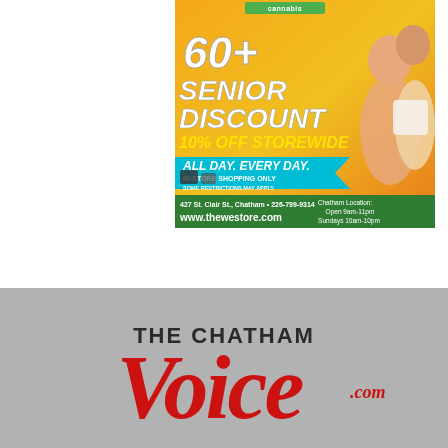[Figure (illustration): Cannabis dispensary advertisement for The We Store. Features orange/yellow background with senior couple hugging, cannabis products. Text: 'cannabis', '60+ SENIOR DISCOUNT', '10% OFF STOREWIDE', 'ALL DAY. EVERY DAY.', 'IN-STORE SHOPPING ONLY', 'SOME RESTRICTIONS MAY APPLY.', '427 St. Clair St., Chatham • 226-799-9314', 'www.thewestore.com', 'Chatham Location: Open 9am-11pm Sundays 10am-10pm']
[Figure (logo): The Chatham Voice .com logo on gray background. Large red italic serif 'Voice' text with 'THE CHATHAM' above in dark text and '.com' superscript.]